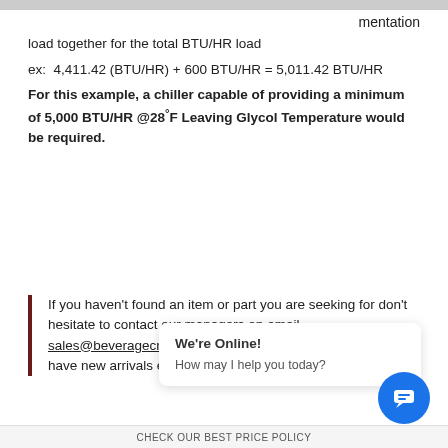mentation
load together for the total BTU/HR load
ex:  4,411.42 (BTU/HR) + 600 BTU/HR = 5,011.42 BTU/HR
For this example, a chiller capable of providing a minimum of 5,000 BTU/HR @28°F Leaving Glycol Temperature would be required.
If you haven't found an item or part you are seeking for don't hesitate to contact our managers on email sales@beveragecraft.com to inquire about the availability. We have new arrivals each week and are always here to help.
[Figure (other): Live chat popup widget showing 'We're Online! How may I help you today?' with a blue circular chat icon button]
CHECK OUR BEST PRICE POLICY